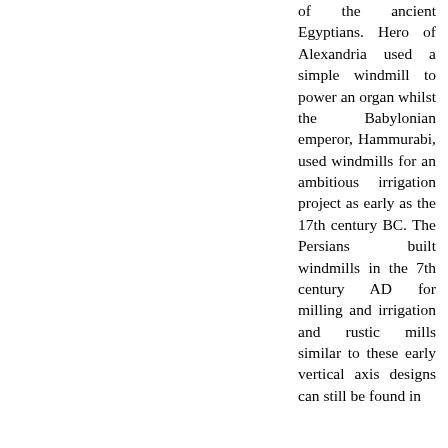of the ancient Egyptians. Hero of Alexandria used a simple windmill to power an organ whilst the Babylonian emperor, Hammurabi, used windmills for an ambitious irrigation project as early as the 17th century BC. The Persians built windmills in the 7th century AD for milling and irrigation and rustic mills similar to these early vertical axis designs can still be found in